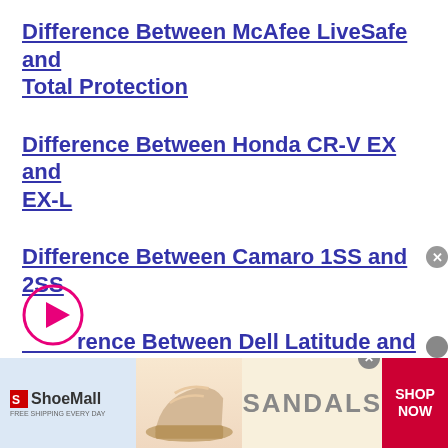Difference Between McAfee LiveSafe and Total Protection
Difference Between Honda CR-V EX and EX-L
Difference Between Camaro 1SS and 2SS
Difference Between Dell Latitude and Dell Vostro
[Figure (other): Play button overlay icon (pink circle with white triangle)]
[Figure (other): ShoeMall advertisement banner with sandal shoe image and SHOP NOW button]